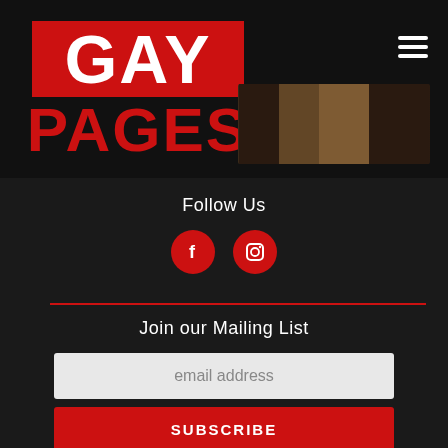[Figure (logo): Gay Pages logo: white text 'GAY' on red background, red text 'PAGES' below on black background]
[Figure (photo): Partial photo of a person, cropped, dark tones]
[Figure (illustration): Hamburger menu icon (three horizontal white lines) in top right corner]
Follow Us
[Figure (infographic): Two red circular social media icons: Facebook (f) and Instagram (camera)]
Join our Mailing List
email address
SUBSCRIBE